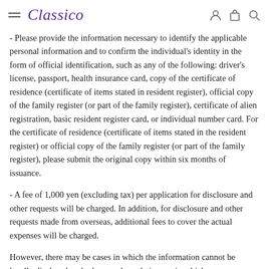Classico
- Please provide the information necessary to identify the applicable personal information and to confirm the individual's identity in the form of official identification, such as any of the following: driver's license, passport, health insurance card, copy of the certificate of residence (certificate of items stated in resident register), official copy of the family register (or part of the family register), certificate of alien registration, basic resident register card, or individual number card. For the certificate of residence (certificate of items stated in the resident register) or official copy of the family register (or part of the family register), please submit the original copy within six months of issuance.
- A fee of 1,000 yen (excluding tax) per application for disclosure and other requests will be charged. In addition, for disclosure and other requests made from overseas, additional fees to cover the actual expenses will be charged.
However, there may be cases in which the information cannot be legally disclosed under laws and regulations or in which necessary